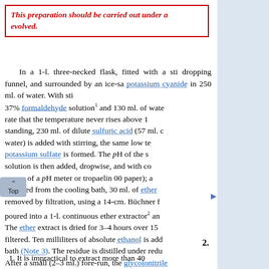This preparation should be carried out under a hood since hydrogen cyanide is evolved.
In a 1-l. three-necked flask, fitted with a stirrer, a reflux condenser, a dropping funnel, and surrounded by an ice-salt bath, is placed 65 g. of potassium cyanide in 250 ml. of water. With stirring, a mixture of 200 ml. of 37% formaldehyde solution[1] and 130 ml. of water is added at such a rate that the temperature never rises above 10°. After 30 minutes' standing, 230 ml. of dilute sulfuric acid (57 ml. of concentrated acid and water) is added with stirring, the same low temperature being maintained; potassium sulfate is formed. The pH of the solution is then adjusted by adding to the solution, dropwise, and with cooling (pH is measured by means of a pH meter or tropaolin 00 paper); and then the flask is removed from the cooling bath, 30 ml. of ether are added, and salts are removed by filtration, using a 14-cm. Büchner funnel.
poured into a 1-l. continuous ether extractor[2] and extracted with ether. The ether extract is dried for 3–4 hours over 150 g. of anhydrous sodium filtered. Ten milliliters of absolute ethanol is added and removed in a water bath (Note 3). The residue is distilled under reduced pressure (Note 3). After a small (2–3 ml.) fore-run, the glycolonitrile is collected at After a small (2–3 ml.) fore-run, the glycolonitrile is collected. The yield of pure glycolonitrile (Note 4) amounts
2.
1. It is impractical to extract more than 40
No
1. It is impractical to prepare glycolonitrile without... slightly lower... continued to... be extracted... than that s...
2. Anhydro... but its drying... advisable.
3. If the eth... tendency to... especially...
References Articles Authors